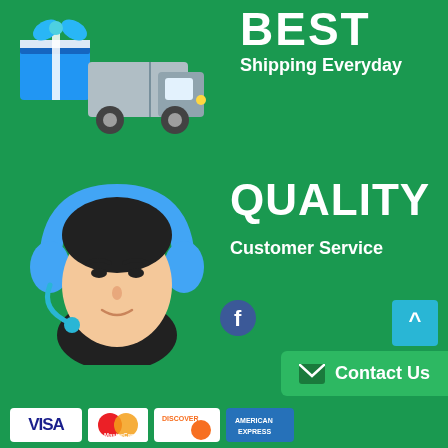[Figure (illustration): Illustration of a blue gift box on a delivery truck (shipping icon) on green background]
BEST
Shipping Everyday
[Figure (illustration): Illustration of a customer service representative wearing blue headphones on green background]
QUALITY
Customer Service
[Figure (other): Back to top arrow button (cyan/teal)]
[Figure (logo): Facebook social media icon (blue circle with white f)]
[Figure (other): Contact Us button (green) with envelope icon]
[Figure (other): Payment method logos row: VISA, MasterCard, DISCOVER, AMEX]